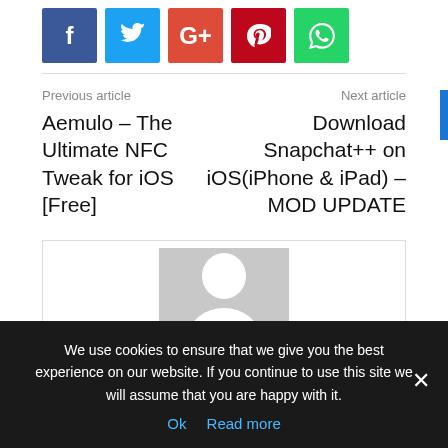[Figure (other): Social media share buttons: Facebook (blue), Twitter (light blue), Google+ (red), Pinterest (dark red), WhatsApp (green)]
Previous article
Next article
Aemulo – The Ultimate NFC Tweak for iOS [Free]
Download Snapchat++ on iOS(iPhone & iPad) – MOD UPDATE
[Figure (photo): Generic user avatar placeholder: grey rectangle with white silhouette of a person]
We use cookies to ensure that we give you the best experience on our website. If you continue to use this site we will assume that you are happy with it.
Ok   Read more